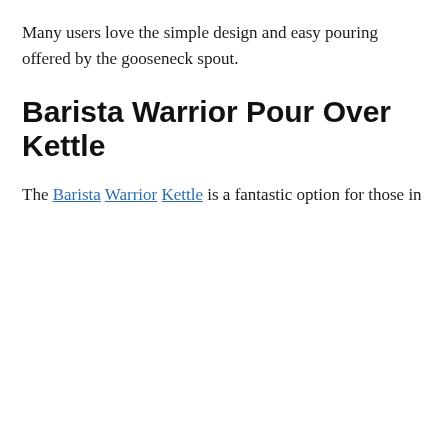Many users love the simple design and easy pouring offered by the gooseneck spout.
Barista Warrior Pour Over Kettle
The Barista Warrior Kettle is a fantastic option for those in